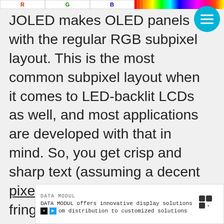[Figure (screenshot): Top bar with R, G, B labels on left side and a rainbow color spectrum bar on the right side]
JOLED makes OLED panels with the regular RGB subpixel layout. This is the most common subpixel layout when it comes to LED-backlit LCDs as well, and most applications are developed with that in mind. So, you get crisp and sharp text (assuming a decent pixel density) without any fringing artifacts.
[Figure (screenshot): Advertisement banner with purple background reading MAKE A FRIEND with a dog image]
[Figure (screenshot): Bottom advertisement for DATA MODUL offering innovative display solutions from distribution to customized solutions]